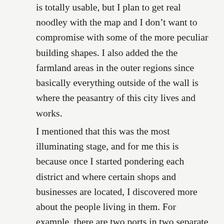is totally usable, but I plan to get real noodley with the map and I don't want to compromise with some of the more peculiar building shapes. I also added the the farmland areas in the outer regions since basically everything outside of the wall is where the peasantry of this city lives and works.
I mentioned that this was the most illuminating stage, and for me this is because once I started pondering each district and where certain shops and businesses are located, I discovered more about the people living in them. For example, there are two ports in two separate districts—one within the walls on the same peninsula that the castle is located and the other is outside the wall, probably the rougher, seedier wharf district.